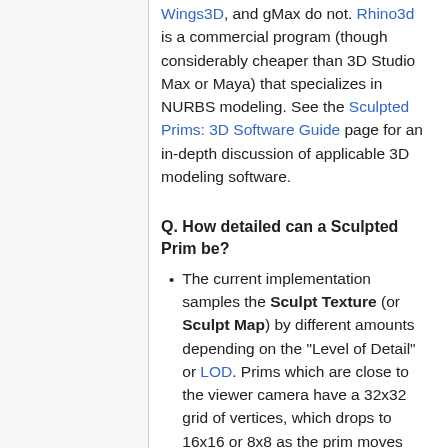Wings3D, and gMax do not. Rhino3d is a commercial program (though considerably cheaper than 3D Studio Max or Maya) that specializes in NURBS modeling. See the Sculpted Prims: 3D Software Guide page for an in-depth discussion of applicable 3D modeling software.
Q. How detailed can a Sculpted Prim be?
The current implementation samples the Sculpt Texture (or Sculpt Map) by different amounts depending on the "Level of Detail" or LOD. Prims which are close to the viewer camera have a 32x32 grid of vertices, which drops to 16x16 or 8x8 as the prim moves away from camera.